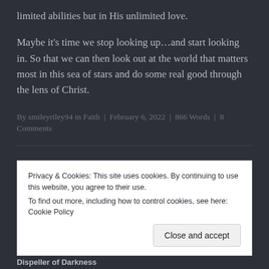limited abilities but in His unlimited love.
Maybe it's time we stop looking up…and start looking in. So that we can then look out at the world that matters most in this sea of stars and do some real good through the lens of Christ.
By smileyriley94 in Faith | February 6, 2022 | 866 Words | 8 Comments
Privacy & Cookies: This site uses cookies. By continuing to use this website, you agree to their use.
To find out more, including how to control cookies, see here: Cookie Policy
Close and accept
Dispeller of Darkness